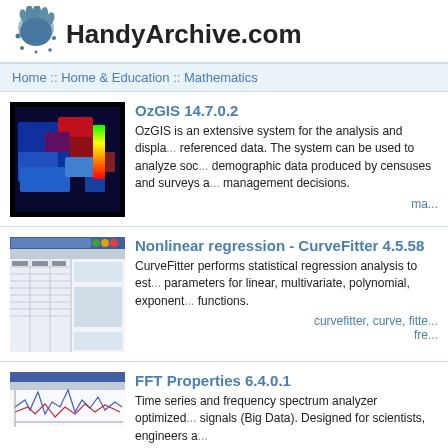HandyArchive.com
Home :: Home & Education :: Mathematics
OzGIS 14.7.0.2
OzGIS is an extensive system for the analysis and display of geo-referenced data. The system can be used to analyze socio-economic and demographic data produced by censuses and surveys and to support management decisions.
ma...
Nonlinear regression - CurveFitter 4.5.58
CurveFitter performs statistical regression analysis to estimate parameters for linear, multivariate, polynomial, exponential functions.
curvefitter, curve, fitte...
fre...
FFT Properties 6.4.0.1
Time series and frequency spectrum analyzer optimized for signals (Big Data). Designed for scientists, engineers a...